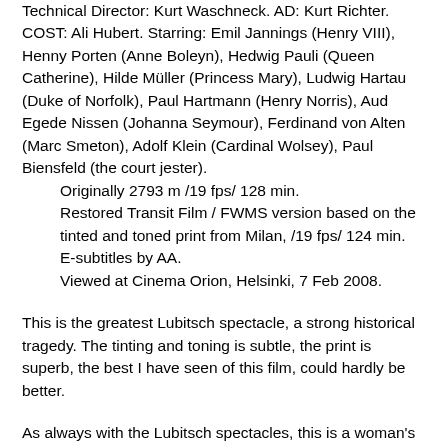Technical Director: Kurt Waschneck. AD: Kurt Richter. COST: Ali Hubert. Starring: Emil Jannings (Henry VIII), Henny Porten (Anne Boleyn), Hedwig Pauli (Queen Catherine), Hilde Müller (Princess Mary), Ludwig Hartau (Duke of Norfolk), Paul Hartmann (Henry Norris), Aud Egede Nissen (Johanna Seymour), Ferdinand von Alten (Marc Smeton), Adolf Klein (Cardinal Wolsey), Paul Biensfeld (the court jester).
    Originally 2793 m /19 fps/ 128 min.
    Restored Transit Film / FWMS version based on the tinted and toned print from Milan, /19 fps/ 124 min.
    E-subtitles by AA.
    Viewed at Cinema Orion, Helsinki, 7 Feb 2008.
This is the greatest Lubitsch spectacle, a strong historical tragedy. The tinting and toning is subtle, the print is superb, the best I have seen of this film, could hardly be better.
As always with the Lubitsch spectacles, this is a woman's story. Certainly it is no great historical drama, the epochal events (the break with Rome, the English Reformation, the creation of the Church of England, the dissolution of the